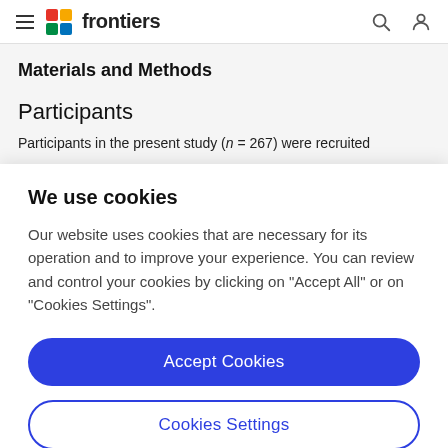frontiers
Materials and Methods
Participants
Participants in the present study (n = 267) were recruited
We use cookies
Our website uses cookies that are necessary for its operation and to improve your experience. You can review and control your cookies by clicking on "Accept All" or on "Cookies Settings".
Accept Cookies
Cookies Settings